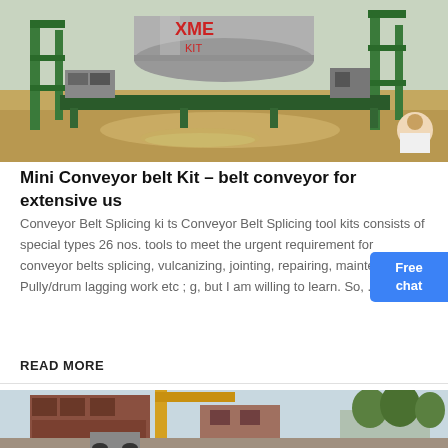[Figure (photo): Industrial conveyor belt machine with green metal frame structure, cylindrical drum, and dirt/construction site background. XME brand visible on equipment.]
Mini Conveyor belt Kit – belt conveyor for extensive us
Conveyor Belt Splicing ki ts Conveyor Belt Splicing tool kits consists of special types 26 nos. tools to meet the urgent requirement for conveyor belts splicing, vulcanizing, jointing, repairing, maintenance, Pully/drum lagging work etc ; g, but I am willing to learn. So, ...
READ MORE
[Figure (photo): Industrial construction site with heavy machinery, crane with yellow arm, red/brown metal structures, and trees in background.]